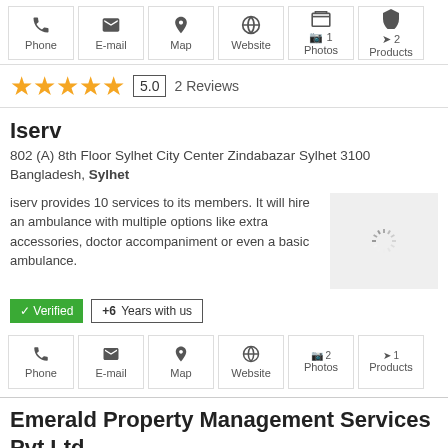[Figure (other): Icon bar with Phone, E-mail, Map, Website, Photos (1), Products (2) buttons]
[Figure (other): Star rating: 5 stars, score 5.0, 2 Reviews]
Iserv
802 (A) 8th Floor Sylhet City Center Zindabazar Sylhet 3100 Bangladesh, Sylhet
iserv provides 10 services to its members. It will hire an ambulance with multiple options like extra accessories, doctor accompaniment or even a basic ambulance.
[Figure (other): Loading spinner image placeholder]
✓ Verified  +6 Years with us
[Figure (other): Icon bar with Phone, E-mail, Map, Website, Photos (2), Products (1) buttons]
Emerald Property Management Services Pvt Ltd